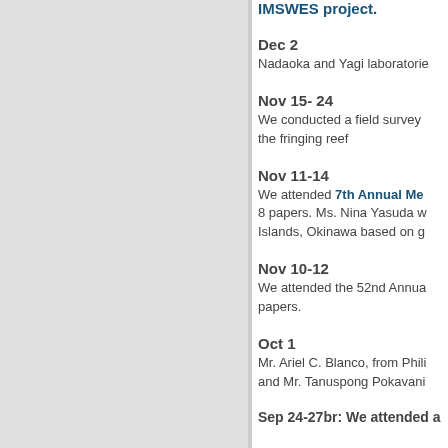IMSWES project.
Dec 2
Nadaoka and Yagi laboratorie
Nov 15- 24
We conducted a field survey the fringing reef
Nov 11-14
We attended 7th Annual Me 8 papers. Ms. Nina Yasuda w Islands, Okinawa based on g
Nov 10-12
We attended the 52nd Annua papers.
Oct 1
Mr. Ariel C. Blanco, from Phili and Mr. Tanuspong Pokavani
Sep 24-27br: We attended a